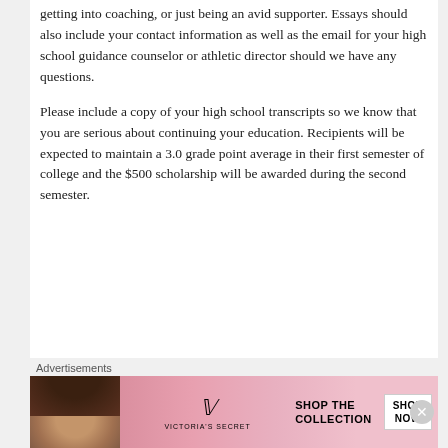getting into coaching, or just being an avid supporter. Essays should also include your contact information as well as the email for your high school guidance counselor or athletic director should we have any questions.
Please include a copy of your high school transcripts so we know that you are serious about continuing your education. Recipients will be expected to maintain a 3.0 grade point average in their first semester of college and the $500 scholarship will be awarded during the second semester.
[Figure (infographic): Victoria's Secret advertisement banner: 'SHOP THE COLLECTION' with a SHOP NOW button]